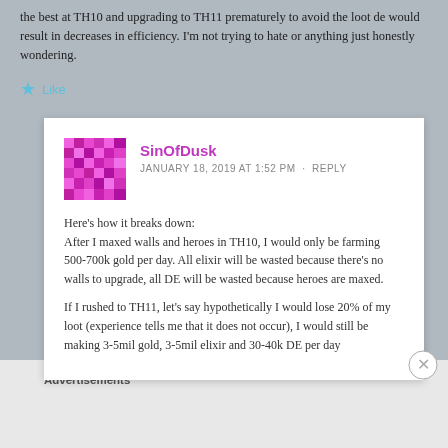the best at TH10 and upgrading to TH11 prematurely to avoid the loot de would result in decreases in efficiency. I'm not trying to hate or anything just honestly wondering.
Like
SinOfDusk
JANUARY 18, 2019 AT 1:52 PM · REPLY
Here's how it breaks down:
After I maxed walls and heroes in TH10, I would only be farming 500-700k gold per day. All elixir will be wasted because there's no walls to upgrade, all DE will be wasted because heroes are maxed.
If I rushed to TH11, let's say hypothetically I would lose 20% of my loot (experience tells me that it does not occur), I would still be making 3-5mil gold, 3-5mil elixir and 30-40k DE per day
Advertisements